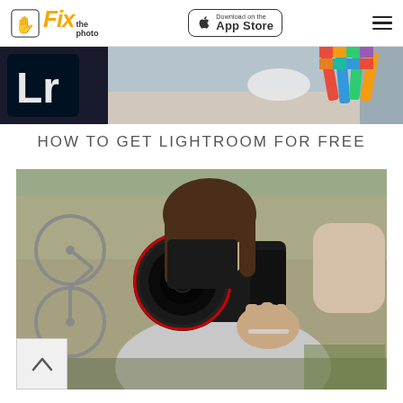Fix the photo | Download on the App Store
[Figure (photo): Partial cropped image strip showing Lightroom Lr logo icon on dark background and colorful markers/swatches on a desk]
HOW TO GET LIGHTROOM FOR FREE
[Figure (photo): Woman with brown hair holding a Canon DSLR camera up to her eye, shooting outdoors near a bicycle and stone wall, wearing a grey sweater]